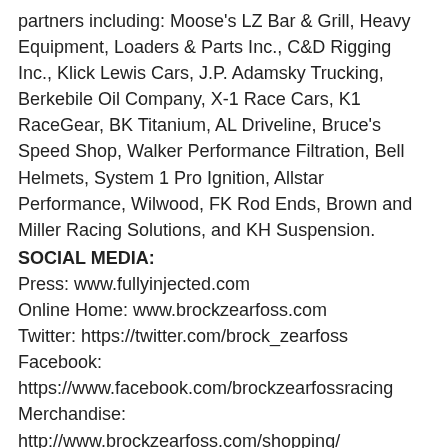partners including: Moose's LZ Bar & Grill, Heavy Equipment, Loaders & Parts Inc., C&D Rigging Inc., Klick Lewis Cars, J.P. Adamsky Trucking, Berkebile Oil Company, X-1 Race Cars, K1 RaceGear, BK Titanium, AL Driveline, Bruce's Speed Shop, Walker Performance Filtration, Bell Helmets, System 1 Pro Ignition, Allstar Performance, Wilwood, FK Rod Ends, Brown and Miller Racing Solutions, and KH Suspension.
SOCIAL MEDIA:
Press: www.fullyinjected.com
Online Home: www.brockzearfoss.com
Twitter: https://twitter.com/brock_zearfoss
Facebook: https://www.facebook.com/brockzearfossracing
Merchandise: http://www.brockzearfoss.com/shopping/
BROADCAST COVERAGE:
Watch the World of Outlaws online at www.dirtvision.com.
STATS:
2022 Brock Zearfoss Racing WoO Statistics:
Wins: 0
Top-5s: 0
Top-10s: 3